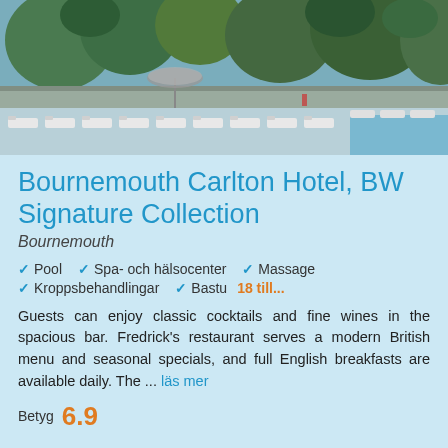[Figure (photo): Outdoor pool area of Bournemouth Carlton Hotel with white lounge chairs lined up, parasols, lush green vegetation and trees in the background, taken on a sunny day.]
Bournemouth Carlton Hotel, BW Signature Collection
Bournemouth
Pool
Spa- och hälsocenter
Massage
Kroppsbehandlingar
Bastu
18 till...
Guests can enjoy classic cocktails and fine wines in the spacious bar. Fredrick's restaurant serves a modern British menu and seasonal specials, and full English breakfasts are available daily. The ... läs mer
Betyg 6.9